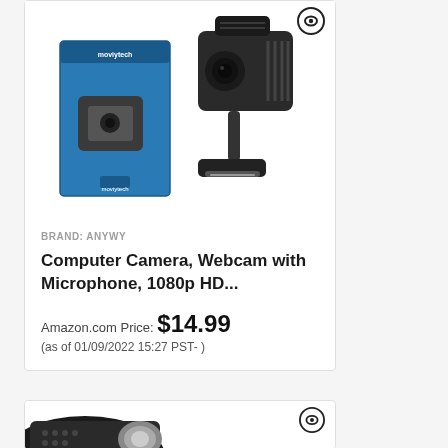[Figure (photo): Product photo of a webcam showing blue retail box and black webcam device side by side]
BRAND: ANYWY
Computer Camera, Webcam with Microphone, 1080p HD...
Amazon.com Price: $14.99 (as of 01/09/2022 15:27 PST- )
[Figure (photo): Partial product photo of a second webcam at bottom of page]